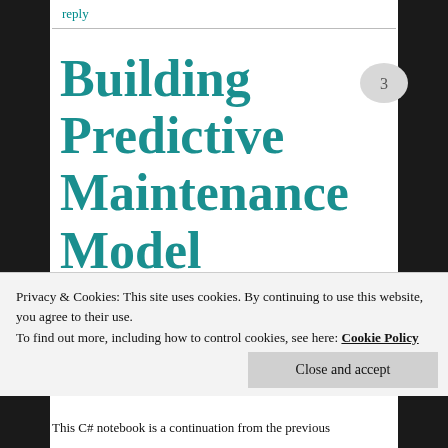reply
Building Predictive Maintenance Model Using ML.NET
[Figure (other): Speech bubble / comment icon with number 3 inside]
Privacy & Cookies: This site uses cookies. By continuing to use this website, you agree to their use.
To find out more, including how to control cookies, see here: Cookie Policy
Close and accept
This C# notebook is a continuation from the previous